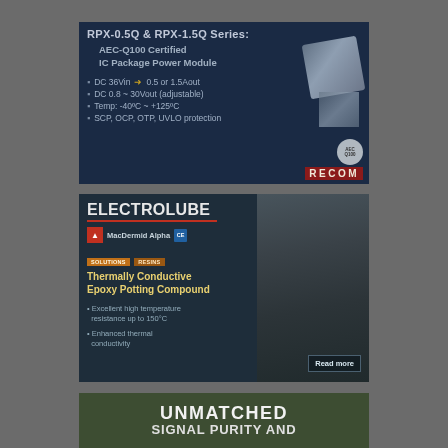[Figure (advertisement): RECOM RPX-0.5Q & RPX-1.5Q Series advertisement showing AEC-Q100 Certified IC Package Power Module with specs: DC 36Vin → 0.5 or 1.5Aout, DC 0.8~30Vout (adjustable), Temp: -40°C ~ +125°C, SCP, OCP, OTP, UVLO protection. RECOM logo at bottom right.]
[Figure (advertisement): Electrolube advertisement under MacDermid Alpha brand. Features Thermally Conductive Epoxy Potting Compound with: Excellent high temperature resistance up to 150°C, Enhanced thermal conductivity. Read more button. Right side shows photo of industrial drill/tool.]
[Figure (advertisement): Partial advertisement on dark olive/green background with large white text: UNMATCHED at top, SIGNAL PURITY AND partially visible below.]